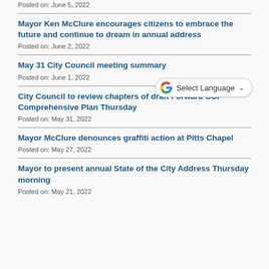Posted on: June 5, 2022
Mayor Ken McClure encourages citizens to embrace the future and continue to dream in annual address
Posted on: June 2, 2022
May 31 City Council meeting summary
Posted on: June 1, 2022
City Council to review chapters of draft Forward SGF Comprehensive Plan Thursday
Posted on: May 31, 2022
Mayor McClure denounces graffiti action at Pitts Chapel
Posted on: May 27, 2022
Mayor to present annual State of the City Address Thursday morning
Posted on: May 21, 2022